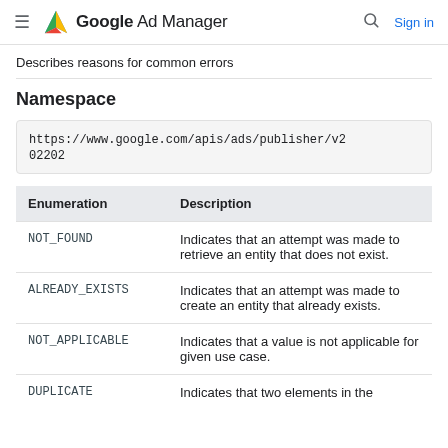Google Ad Manager  Sign in
Describes reasons for common errors
Namespace
https://www.google.com/apis/ads/publisher/v202202
| Enumeration | Description |
| --- | --- |
| NOT_FOUND | Indicates that an attempt was made to retrieve an entity that does not exist. |
| ALREADY_EXISTS | Indicates that an attempt was made to create an entity that already exists. |
| NOT_APPLICABLE | Indicates that a value is not applicable for given use case. |
| DUPLICATE | Indicates that two elements in the |